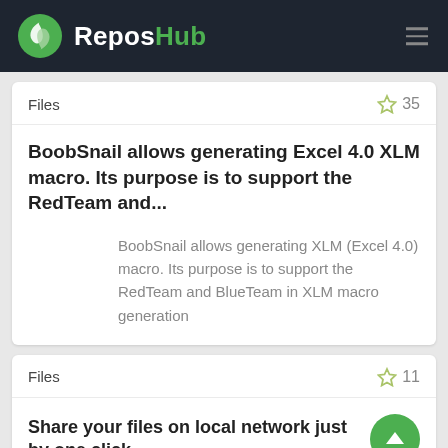ReposHub
Files ☆ 35
BoobSnail allows generating Excel 4.0 XLM macro. Its purpose is to support the RedTeam and...
BoobSnail allows generating XLM (Excel 4.0) macro. Its purpose is to support the RedTeam and BlueTeam in XLM macro generation
Files ☆ 11
Share your files on local network just by one click.